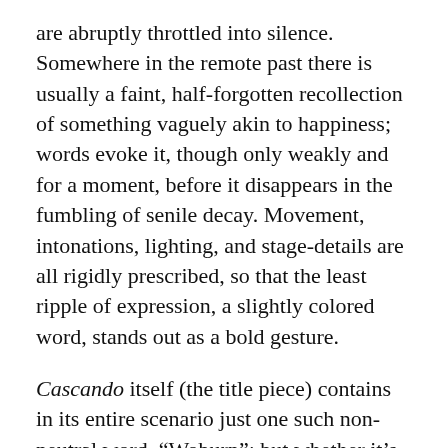are abruptly throttled into silence. Somewhere in the remote past there is usually a faint, half-forgotten recollection of something vaguely akin to happiness; words evoke it, though only weakly and for a moment, before it disappears in the fumbling of senile decay. Movement, intonations, lighting, and stage-details are all rigidly prescribed, so that the least ripple of expression, a slightly colored word, stands out as a bold gesture.
Cascando itself (the title piece) contains in its entire scenario just one such non-neutral word, “Woburn”; but whether it’s the name of the chief character, the country seat of the Duke of Bedford, a town near Boston, Mass., an English series of collected short stories, or a yoking of two dire monosyllables (woe